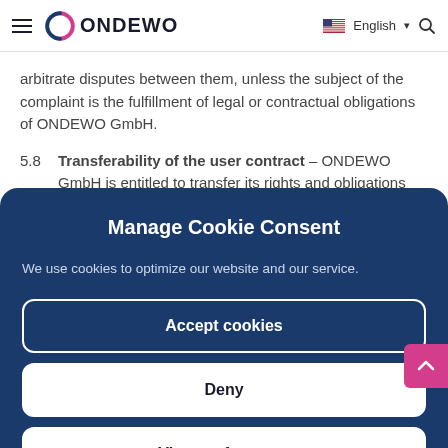ONDEWO — English
arbitrate disputes between them, unless the subject of the complaint is the fulfillment of legal or contractual obligations of ONDEWO GmbH.
5.8  Transferability of the user contract – ONDEWO GmbH is entitled to transfer its rights and obligations from the
Manage Cookie Consent
We use cookies to optimize our website and our service.
Accept cookies
Deny
View preferences